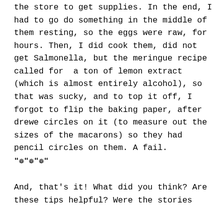the store to get supplies. In the end, I had to go do something in the middle of them resting, so the eggs were raw, for hours. Then, I did cook them, did not get Salmonella, but the meringue recipe called for  a ton of lemon extract (which is almost entirely alcohol), so that was sucky, and to top it off, I forgot to flip the baking paper, after drewe circles on it (to measure out the sizes of the macarons) so they had pencil circles on them. A fail.
🌺🌺🌺
And, that's it! What did you think? Are these tips helpful? Were the stories